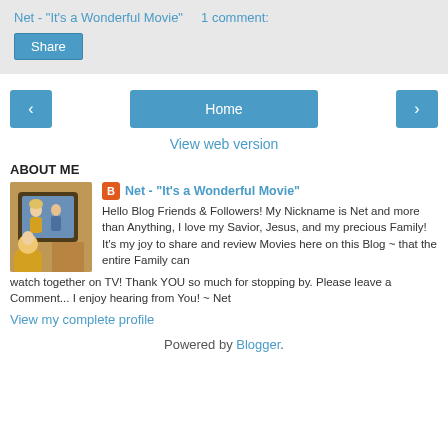Net - "It's a Wonderful Movie"   1 comment:
Share
‹  Home  ›
View web version
ABOUT ME
[Figure (photo): Profile photo showing a woman and man in front of a TV screen]
Net - "It's a Wonderful Movie"
Hello Blog Friends & Followers! My Nickname is Net and more than Anything, I love my Savior, Jesus, and my precious Family! It's my joy to share and review Movies here on this Blog ~ that the entire Family can watch together on TV! Thank YOU so much for stopping by. Please leave a Comment... I enjoy hearing from You! ~ Net
View my complete profile
Powered by Blogger.